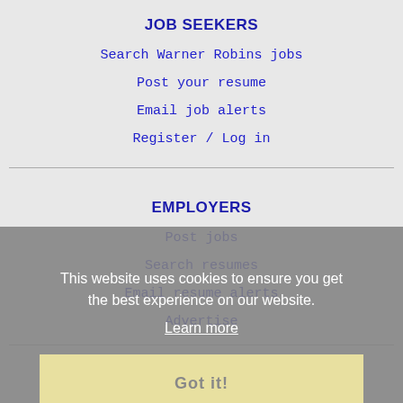JOB SEEKERS
Search Warner Robins jobs
Post your resume
Email job alerts
Register / Log in
EMPLOYERS
Post jobs
Search resumes
Email resume alerts
Advertise
This website uses cookies to ensure you get the best experience on our website.
Learn more
Got it!
IMMIGRATION SPECIALISTS
Post jobs